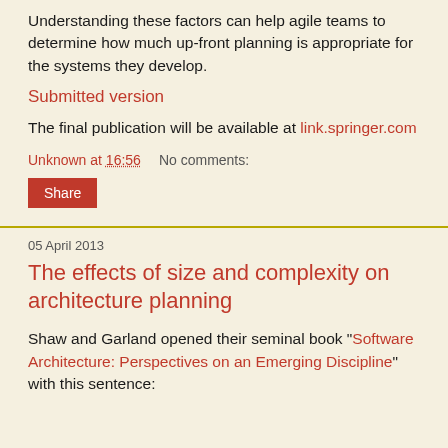Understanding these factors can help agile teams to determine how much up-front planning is appropriate for the systems they develop.
Submitted version
The final publication will be available at link.springer.com
Unknown at 16:56    No comments:
Share
05 April 2013
The effects of size and complexity on architecture planning
Shaw and Garland opened their seminal book "Software Architecture: Perspectives on an Emerging Discipline" with this sentence: